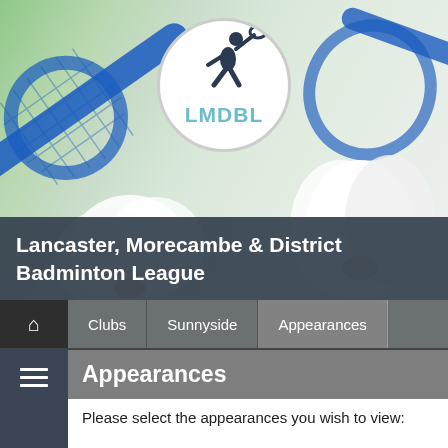[Figure (logo): LMDBL badminton league logo — white circle with dark blue silhouette of badminton player and 'LMDBL' text in teal, set against a background photo of badminton rackets and shuttlecocks]
Lancaster, Morecambe & District Badminton League
Home | Clubs | Sunnyside | Appearances
Appearances
Please select the appearances you wish to view: